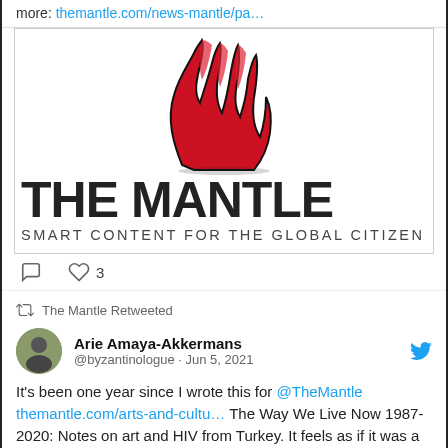more: themantle.com/news-mantle/pa…
[Figure (logo): The Mantle logo: red stylized fist icon above bold black text 'THE MANTLE' with subtitle 'SMART CONTENT FOR THE GLOBAL CITIZEN']
♡ 3
The Mantle Retweeted
Arie Amaya-Akkermans @byzantinologue · Jun 5, 2021
It's been one year since I wrote this for @TheMantle themantle.com/arts-and-cultu… The Way We Live Now 1987-2020: Notes on art and HIV from Turkey. It feels as if it was a decade ago. Spoiler: @MuncbDaed was one of